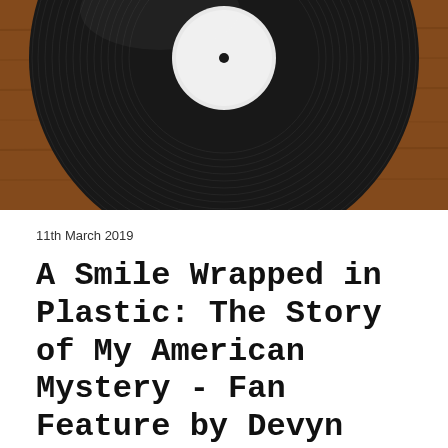[Figure (photo): A vinyl record (black) shot from above, resting on a wooden surface. The center label of the record is white/light colored. The record fills most of the frame.]
11th March 2019
A Smile Wrapped in Plastic: The Story of My American Mystery - Fan Feature by Devyn Grassia
Discovering Queen was an experience like no other. Of course I grew up listening to the radio with my mom and have probably heard